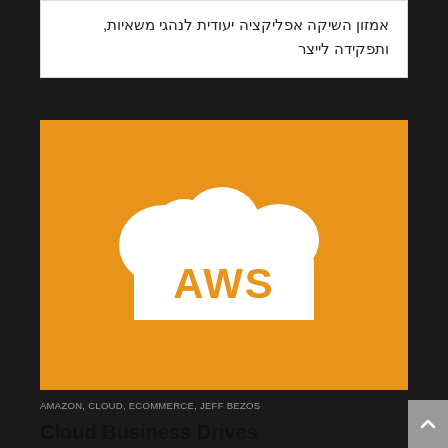אמזון השיקה אפליקציה יעודית לנהגי משאיות, ותפקידה לייצר
[Figure (logo): AWS logo: white cloud shape with 'AWS' text in orange, on an orange background]
AMAZON, CLOUD, ECOMMERCE, JEFF BEZOS
Cloud Business Drives Amazon's Profits